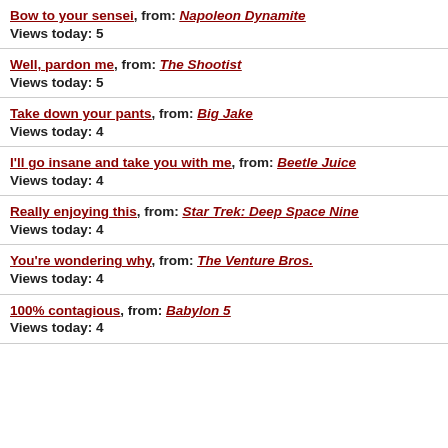Bow to your sensei, from: Napoleon Dynamite
Views today: 5
Well, pardon me, from: The Shootist
Views today: 5
Take down your pants, from: Big Jake
Views today: 4
I'll go insane and take you with me, from: Beetle Juice
Views today: 4
Really enjoying this, from: Star Trek: Deep Space Nine
Views today: 4
You're wondering why, from: The Venture Bros.
Views today: 4
100% contagious, from: Babylon 5
Views today: 4